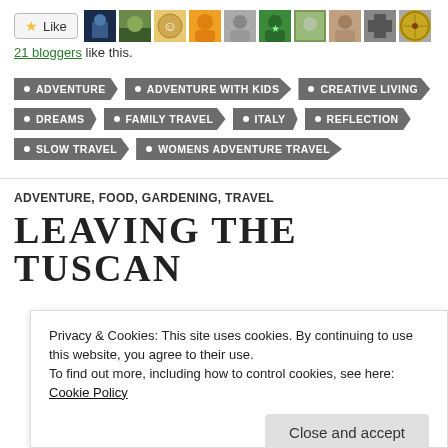[Figure (other): Like button with star icon and row of blogger avatar thumbnails]
21 bloggers like this.
ADVENTURE
ADVENTURE WITH KIDS
CREATIVE LIVING
DREAMS
FAMILY TRAVEL
ITALY
REFLECTION
SLOW TRAVEL
WOMENS ADVENTURE TRAVEL
ADVENTURE, FOOD, GARDENING, TRAVEL
LEAVING THE TUSCAN
Privacy & Cookies: This site uses cookies. By continuing to use this website, you agree to their use.
To find out more, including how to control cookies, see here: Cookie Policy
Close and accept